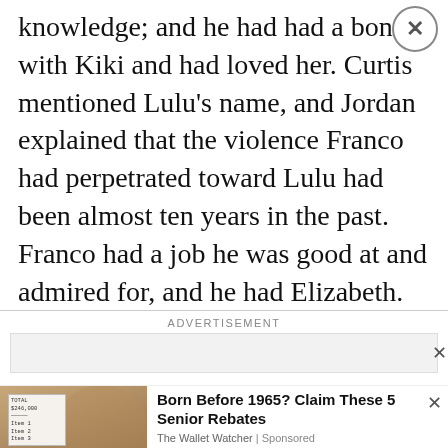knowledge; and he had had a bond with Kiki and had loved her. Curtis mentioned Lulu's name, and Jordan explained that the violence Franco had perpetrated toward Lulu had been almost ten years in the past. Franco had a job he was good at and admired for, and he had Elizabeth. She thought the perpetrator had shown skills that had been obviously suspicious. "Too obvious," Curtis said.
[Figure (screenshot): Advertisement section with ADVERTISEMENT label, a gray bar with close X, a store ad showing cm logo with 'In-store shopping, Curbside pickup, Delivery' and a blue diamond arrow icon, and a sponsored ad showing a woman with glasses and text 'Born Before 1965? Claim These 5 Senior Rebates' from The Wallet Watcher | Sponsored with a close X button]